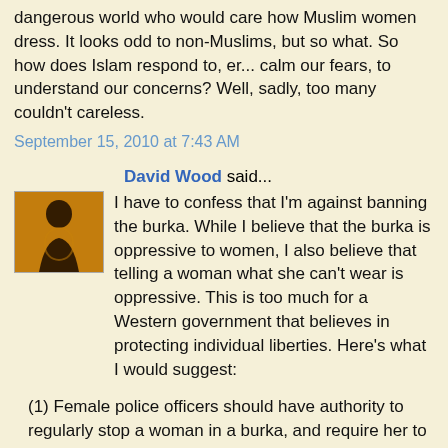dangerous world who would care how Muslim women dress. It looks odd to non-Muslims, but so what. So how does Islam respond to, er... calm our fears, to understand our concerns? Well, sadly, too many couldn't careless.
September 15, 2010 at 7:43 AM
David Wood said...
[Figure (photo): Small avatar image showing a silhouetted figure with an orange/brown background]
I have to confess that I'm against banning the burka. While I believe that the burka is oppressive to women, I also believe that telling a woman what she can't wear is oppressive. This is too much for a Western government that believes in protecting individual liberties. Here's what I would suggest:
(1) Female police officers should have authority to regularly stop a woman in a burka, and require her to remove the burka in private.
(2) Banks, airports, train stations, etc., should have a right to scan women in burkas.